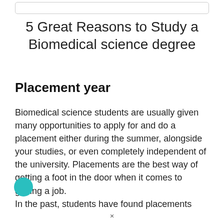5 Great Reasons to Study a Biomedical science degree
Placement year
Biomedical science students are usually given many opportunities to apply for and do a placement either during the summer, alongside your studies, or even completely independent of the university. Placements are the best way of getting a foot in the door when it comes to getting a job.
In the past, students have found placements